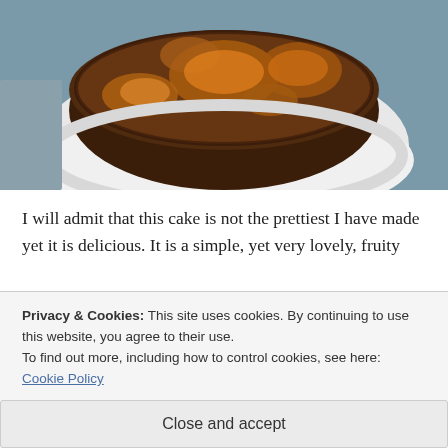[Figure (photo): Overhead close-up of a round fruit cake (with orange/apricot pieces visible) on a white plate, photographed from above on a grey-blue surface.]
I will admit that this cake is not the prettiest I have made yet it is delicious. It is a simple, yet very lovely, fruity
Privacy & Cookies: This site uses cookies. By continuing to use this website, you agree to their use.
To find out more, including how to control cookies, see here: Cookie Policy
Close and accept